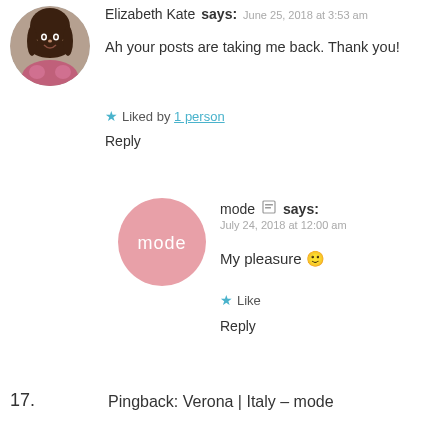[Figure (photo): Circular avatar photo of Elizabeth Kate, a woman with dark hair wearing a floral top]
Elizabeth Kate says: June 25, 2018 at 3:53 am
Ah your posts are taking me back. Thank you!
★ Liked by 1 person
Reply
[Figure (logo): Circular pink avatar with the word 'mode' in white text]
mode says: July 24, 2018 at 12:00 am
My pleasure 🙂
★ Like
Reply
17.
Pingback: Verona | Italy – mode